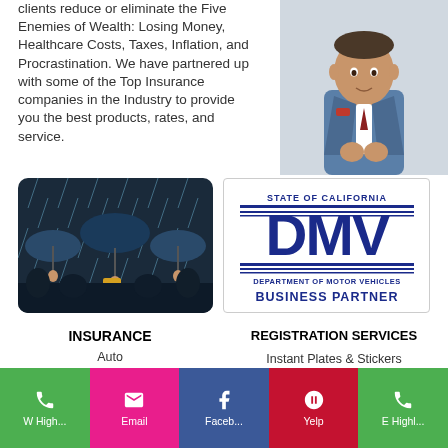clients reduce or eliminate the Five Enemies of Wealth: Losing Money, Healthcare Costs, Taxes, Inflation, and Procrastination. We have partnered up with some of the Top Insurance companies in the Industry to provide you the best products, rates, and service.
[Figure (photo): Man in blue suit posing for portrait]
[Figure (photo): Three businessmen holding umbrellas in rain]
[Figure (logo): State of California DMV Department of Motor Vehicles Business Partner logo]
INSURANCE
Auto
Home
Life
Health
Renters
Motorcycle
REGISTRATION SERVICES
Instant Plates & Stickers
Registration Renewals
Title Transfers
Salvage Transfers
W High... | Email | Faceb... | Yelp | E Highl...